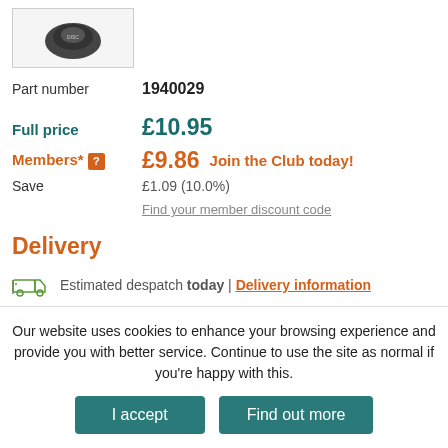[Figure (photo): Product image thumbnail showing a small dark round item in a bordered box]
Part number  1940029
Full price  £10.95
Members* [?]  £9.86  Join the Club today!
Save  £1.09 (10.0%)
Find your member discount code
Delivery
Estimated despatch today | Delivery information
Qty
Our website uses cookies to enhance your browsing experience and provide you with better service. Continue to use the site as normal if you're happy with this.